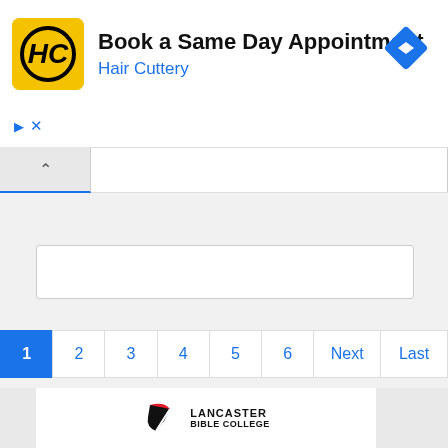[Figure (screenshot): Hair Cuttery advertisement banner with yellow HC logo, text 'Book a Same Day Appointment' and 'Hair Cuttery' in blue, blue navigation diamond icon top right, small blue triangle and X controls bottom left]
[Figure (screenshot): Browser collapse/tab bar with up-arrow chevron button and white tab area]
[Figure (screenshot): Empty white search/input box]
[Figure (screenshot): Pagination bar with page buttons: 1 (highlighted blue), 2, 3, 4, 5, 6, Next, Last]
[Figure (logo): Lancaster Bible College advertisement with red and black logo mark and bold text 'LANCASTER BIBLE COLLEGE' below]